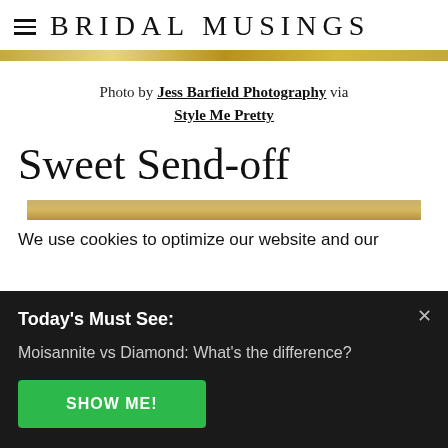BRIDAL MUSINGS
[Figure (photo): Gold/tan decorative bar strip at top of page]
Photo by Jess Barfield Photography via Style Me Pretty
Sweet Send-off
[Figure (photo): Partial photo strip visible below title]
We use cookies to optimize our website and our
Today's Must See:
Moisannite vs Diamond: What's the difference?
SHOW ME!